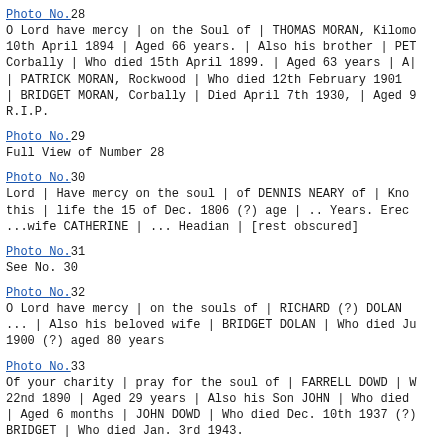Photo No.28
O Lord have mercy | on the Soul of | THOMAS MORAN, Kilomo
10th April 1894 | Aged 66 years. | Also his brother | PET
Corbally | Who died 15th April 1899. | Aged 63 years | A|
| PATRICK MORAN, Rockwood | Who died 12th February 1901
| BRIDGET MORAN, Corbally | Died April 7th 1930, | Aged 9
R.I.P.
Photo No.29
Full View of Number 28
Photo No.30
Lord | Have mercy on the soul | of DENNIS NEARY of | Kno
this | life the 15 of Dec. 1806 (?) age | .. Years. Erec
...wife CATHERINE | ... Headian | [rest obscured]
Photo No.31
See No. 30
Photo No.32
O Lord have mercy | on the souls of | RICHARD (?) DOLAN 
... | Also his beloved wife | BRIDGET DOLAN | Who died Ju
1900 (?) aged 80 years
Photo No.33
Of your charity | pray for the soul of | FARRELL DOWD | W
22nd 1890 | Aged 29 years | Also his Son JOHN | Who died
| Aged 6 months | JOHN DOWD | Who died Dec. 10th 1937 (?)
BRIDGET | Who died Jan. 3rd 1943.